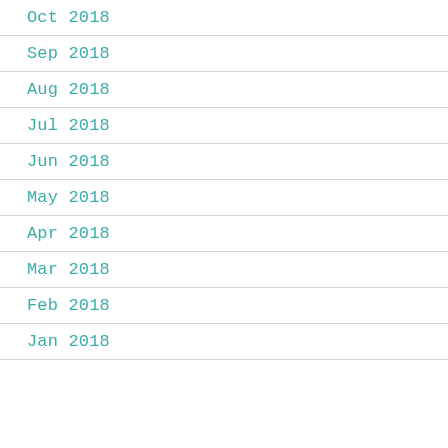Oct 2018
Sep 2018
Aug 2018
Jul 2018
Jun 2018
May 2018
Apr 2018
Mar 2018
Feb 2018
Jan 2018